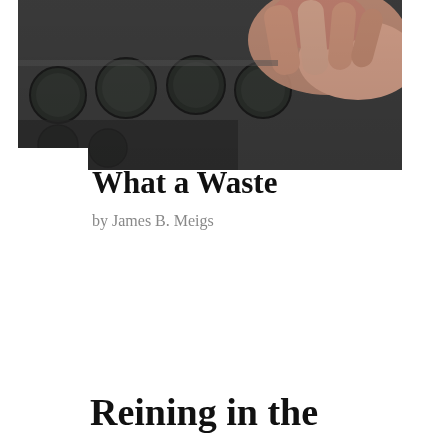[Figure (photo): Close-up photo of hands using a typewriter, showing keys and fingers, dark tones with warm skin color]
What a Waste
by James B. Meigs
Reining in the